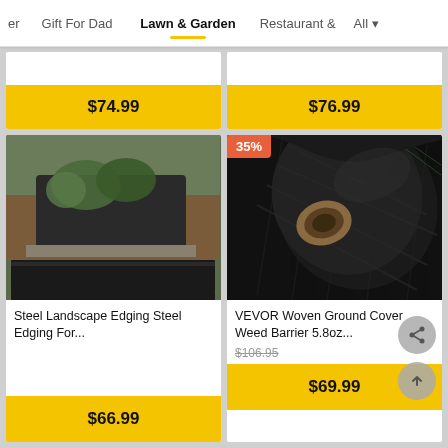Gift For Dad | Lawn & Garden | Restaurant & | All
$74.99
$76.99
[Figure (photo): Garden bed with black steel landscape edging showing zigzag teeth at the bottom]
Steel Landscape Edging Steel Edging For...
$66.99
[Figure (photo): Roll of black woven ground cover weed barrier fabric]
35%
VEVOR Woven Ground Cover Weed Barrier 5.8oz...
$106.95
$69.99